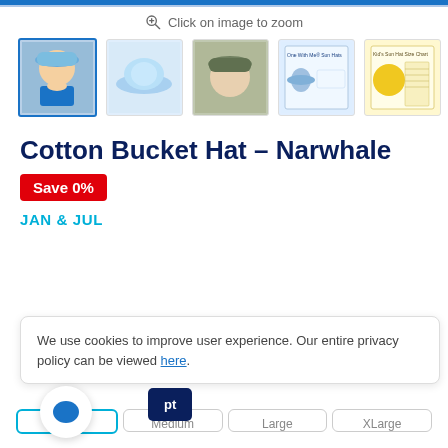Click on image to zoom
[Figure (photo): 5 product thumbnail images of a Cotton Bucket Hat - Narwhale for children. First thumbnail is selected (blue border) showing a baby wearing a blue narwhale bucket hat. Second shows the hat flat. Third shows a baby wearing a patterned hat. Fourth shows product info graphic. Fifth shows a size chart.]
Cotton Bucket Hat – Narwhale
Save 0%
JAN & JUL
We use cookies to improve user experience. Our entire privacy policy can be viewed here.
Small   Medium   Large   XLarge